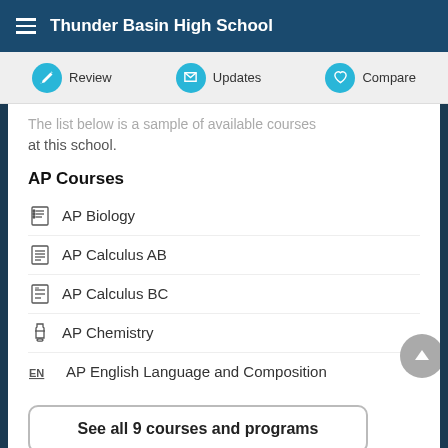Thunder Basin High School
Review   Updates   Compare
The list below is a sample of available courses at this school.
AP Courses
AP Biology
AP Calculus AB
AP Calculus BC
AP Chemistry
AP English Language and Composition
See all 9 courses and programs